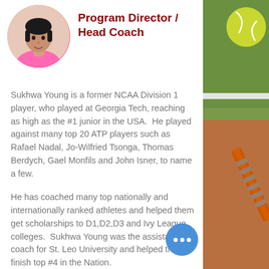[Figure (photo): Circular profile photo of Sukhwa Young wearing a pink shirt]
Program Director / Head Coach
Sukhwa Young is a former NCAA Division 1 player, who played at Georgia Tech, reaching as high as the #1 junior in the USA. He played against many top 20 ATP players such as Rafael Nadal, Jo-Wilfried Tsonga, Thomas Berdych, Gael Monfils and John Isner, to name a few.
He has coached many top nationally and internationally ranked athletes and helped them get scholarships to D1,D2,D3 and Ivy League colleges. Sukhwa Young was the assistant coach for St. Leo University and helped them finish top #4 in the Nation.
[Figure (photo): Background photo of tennis court surface, racket, and tennis ball on the right side of the page]